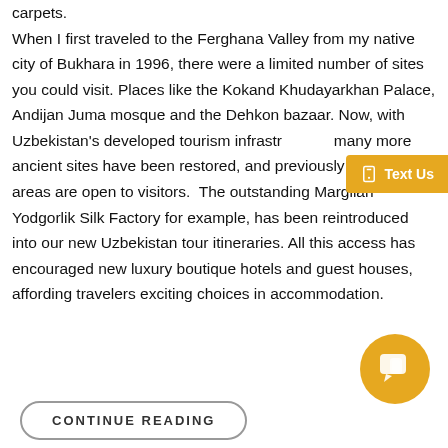carpets. When I first traveled to the Ferghana Valley from my native city of Bukhara in 1996, there were a limited number of sites you could visit. Places like the Kokand Khudayarkhan Palace, Andijan Juma mosque and the Dehkon bazaar. Now, with Uzbekistan's developed tourism infrastructure, many more ancient sites have been restored, and previously closed areas are open to visitors. The outstanding Margilan Yodgorlik Silk Factory for example, has been reintroduced into our new Uzbekistan tour itineraries. All this access has encouraged new luxury boutique hotels and guest houses, affording travelers exciting choices in accommodation.
[Figure (other): Text Us button in amber/gold color with phone icon]
[Figure (other): Chat bubble button in amber/gold circle]
CONTINUE READING